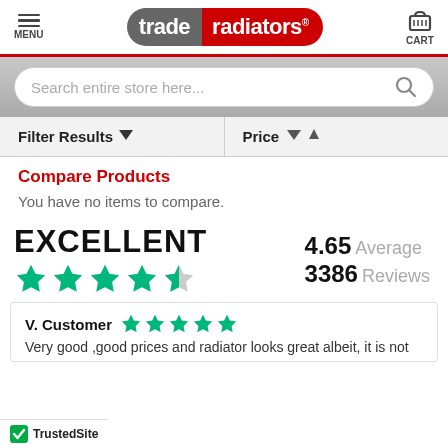MENU | trade radiators | CART
Search entire store here...
Filter Results | Price
Compare Products
You have no items to compare.
[Figure (infographic): EXCELLENT rating with 4.5 green stars, 4.65 Average, 3386 Reviews]
V. Customer ★★★★★
Very good ,good prices and radiator looks great albeit, it is not
TrustedSite